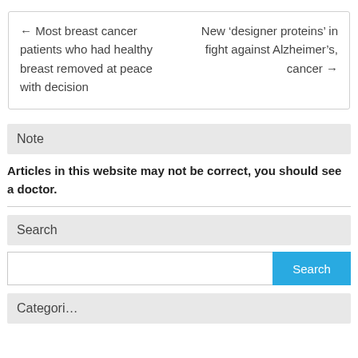← Most breast cancer patients who had healthy breast removed at peace with decision
New 'designer proteins' in fight against Alzheimer's, cancer →
Note
Articles in this website may not be correct, you should see a doctor.
Search
Search
Categories